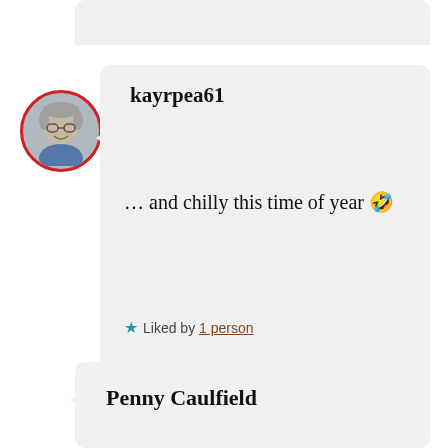[Figure (screenshot): Social media comment thread showing two comments. First comment by kayrpea61 with avatar photo, text '... and chilly this time of year 🤣', liked by 1 person, dated JUNE 18, 2018 AT 6:45 PM. Second comment by Penny Caulfield, partially visible.]
kayrpea61
... and chilly this time of year 🤣
★ Liked by 1 person
JUNE 18, 2018 AT 6:45 PM
Penny Caulfield